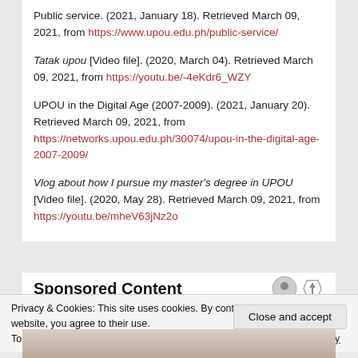Public service. (2021, January 18). Retrieved March 09, 2021, from https://www.upou.edu.ph/public-service/
Tatak upou [Video file]. (2020, March 04). Retrieved March 09, 2021, from https://youtu.be/-4eKdr6_WZY
UPOU in the Digital Age (2007-2009). (2021, January 20). Retrieved March 09, 2021, from https://networks.upou.edu.ph/30074/upou-in-the-digital-age-2007-2009/
Vlog about how I pursue my master's degree in UPOU [Video file]. (2020, May 28). Retrieved March 09, 2021, from https://youtu.be/mheV63jNz2o
Sponsored Content
Privacy & Cookies: This site uses cookies. By continuing to use this website, you agree to their use.
To find out more, including how to control cookies, see here: Cookie Policy
Close and accept